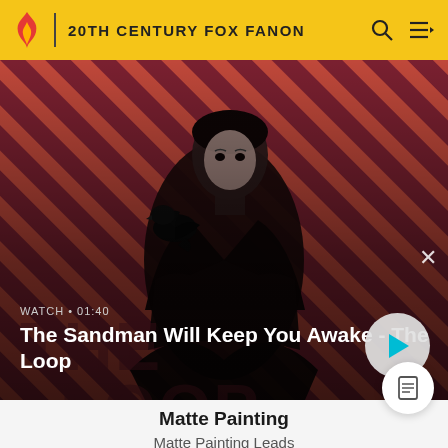20TH CENTURY FOX FANON
[Figure (photo): Hero banner showing a dramatic figure in black coat with a crow on his shoulder, against a red and dark diagonal striped background. Text overlay shows 'The Sandman Will Keep You Awake - The Loop' with a play button.]
Matte Painting
Matte Painting Leads